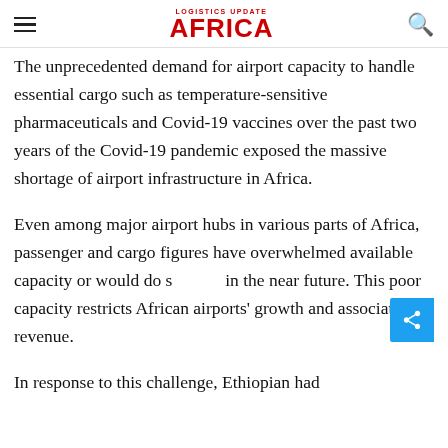LOGISTICS UPDATE AFRICA
The unprecedented demand for airport capacity to handle essential cargo such as temperature-sensitive pharmaceuticals and Covid-19 vaccines over the past two years of the Covid-19 pandemic exposed the massive shortage of airport infrastructure in Africa.
Even among major airport hubs in various parts of Africa, passenger and cargo figures have overwhelmed available capacity or would do so in the near future. This poor capacity restricts African airports' growth and associated revenue.
In response to this challenge, Ethiopian had